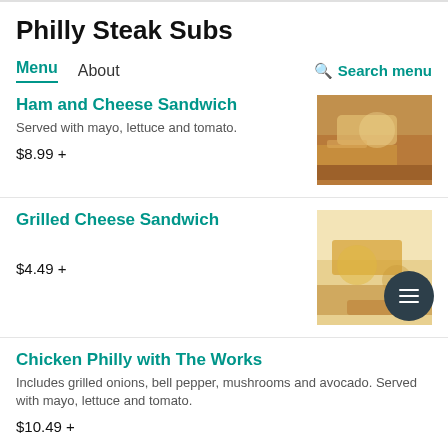Philly Steak Subs
Menu   About   Search menu
Ham and Cheese Sandwich
Served with mayo, lettuce and tomato.
$8.99 +
[Figure (photo): Photo of ham and cheese sandwich]
Grilled Cheese Sandwich
$4.49 +
[Figure (photo): Photo of grilled cheese sandwich]
Chicken Philly with The Works
Includes grilled onions, bell pepper, mushrooms and avocado. Served with mayo, lettuce and tomato.
$10.49 +